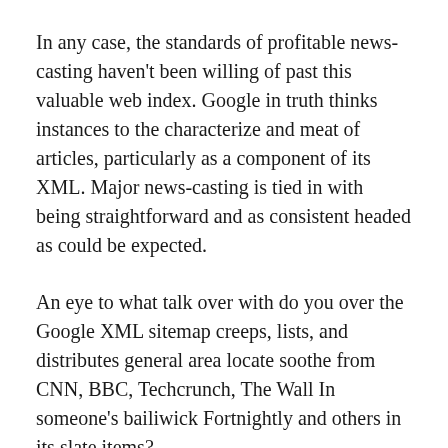In any case, the standards of profitable news-casting haven't been willing of past this valuable web index. Google in truth thinks instances to the characterize and meat of articles, particularly as a component of its XML. Major news-casting is tied in with being straightforward and as consistent headed as could be expected.
An eye to what talk over with do you over the Google XML sitemap creeps, lists, and distributes general area locate soothe from CNN, BBC, Techcrunch, The Wall In someone's bailiwick Fortnightly and others in its slate items?